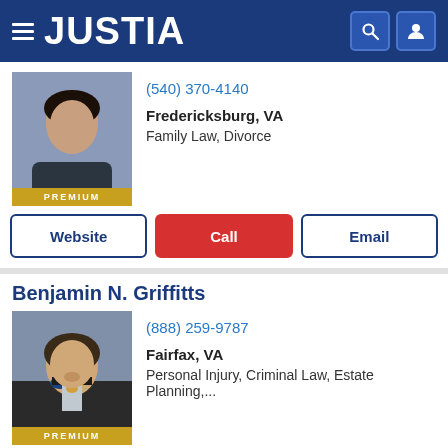JUSTIA
(540) 370-4140
Fredericksburg, VA
Family Law, Divorce
Website | Call | Email
Benjamin N. Griffitts
(888) 259-9787
Fairfax, VA
Personal Injury, Criminal Law, Estate Planning,...
Website | Call | Email